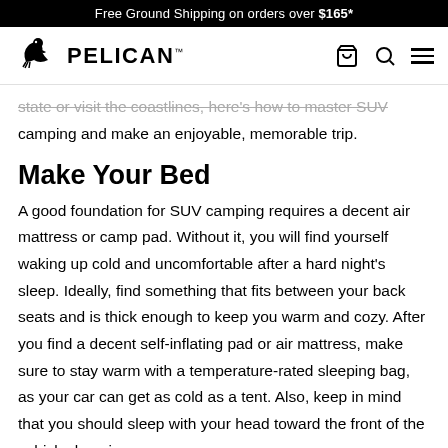Free Ground Shipping on orders over $165*
[Figure (logo): Pelican brand logo with pelican bird icon and PELICAN text]
state or visit the coastlines, here's how to master SUV camping and make an enjoyable, memorable trip.
Make Your Bed
A good foundation for SUV camping requires a decent air mattress or camp pad. Without it, you will find yourself waking up cold and uncomfortable after a hard night's sleep. Ideally, find something that fits between your back seats and is thick enough to keep you warm and cozy. After you find a decent self-inflating pad or air mattress, make sure to stay warm with a temperature-rated sleeping bag, as your car can get as cold as a tent. Also, keep in mind that you should sleep with your head toward the front of the vehicle, keeping your